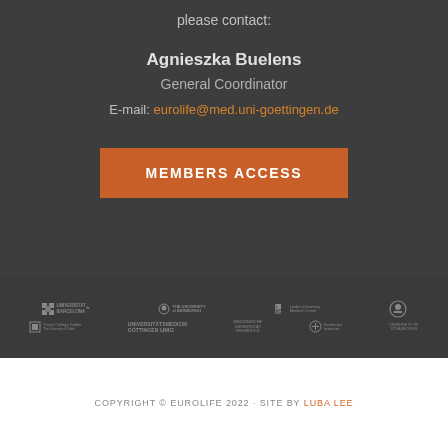please contact:
Agnieszka Buelens
General Coordinator
E-mail: eurolife@med.uni-goettingen.de
MEMBERS ACCESS
[Figure (logo): Row of university logos: Universitat de Barcelona, The University of Edinburgh, Leiden University Medical Center, Trinity College Dublin, Universitatsmedizin Gottingen UMG, Medizinische Universitat Innsbruck, Karolinska Institutet, University of Strasbourg, and one more circular logo]
COPYRIGHT © EUROLIFE 2022 · SITE BY LUBA LEE